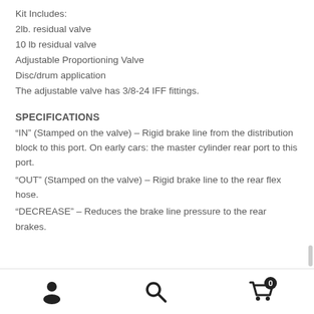Kit Includes:
2lb. residual valve
10 lb residual valve
Adjustable Proportioning Valve
Disc/drum application
The adjustable valve has 3/8-24 IFF fittings.
SPECIFICATIONS
“IN” (Stamped on the valve) – Rigid brake line from the distribution block to this port. On early cars: the master cylinder rear port to this port.
“OUT” (Stamped on the valve) – Rigid brake line to the rear flex hose.
“DECREASE” – Reduces the brake line pressure to the rear brakes.